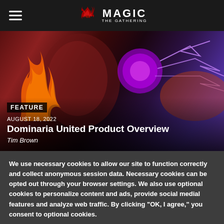Magic: The Gathering navigation bar with hamburger menu and MTG logo
[Figure (illustration): Fantasy art showing a robed wizard character wielding magical fire and energy, with swirling purple and orange magical effects. Overlaid with article metadata: FEATURE badge, date AUGUST 18, 2022, title Dominaria United Product Overview, author Tim Brown.]
FEATURE
AUGUST 18, 2022
Dominaria United Product Overview
Tim Brown
We use necessary cookies to allow our site to function correctly and collect anonymous session data. Necessary cookies can be opted out through your browser settings. We also use optional cookies to personalize content and ads, provide social medial features and analyze web traffic. By clicking “OK, I agree,” you consent to optional cookies. (Learn more about cookies.)
OK, I agree
No, thanks